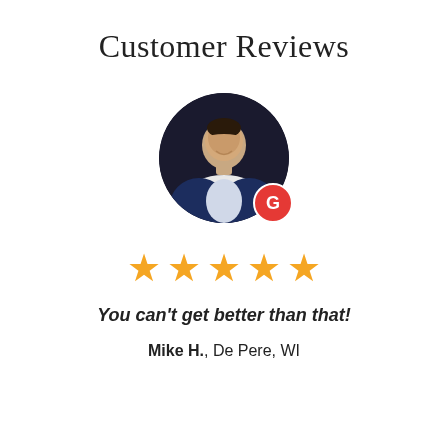Customer Reviews
[Figure (photo): Circular profile photo of a man in a dark suit with a Google badge overlay in the bottom right]
[Figure (other): Five gold star rating icons]
You can't get better than that!
Mike H., De Pere, WI